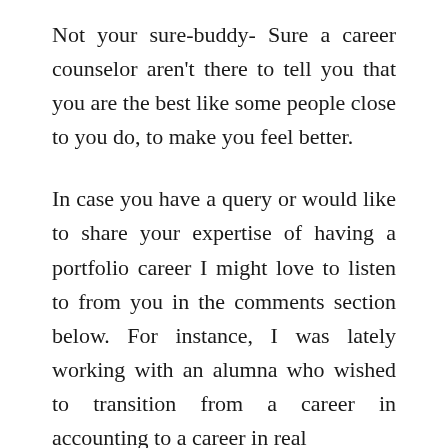Not your sure-buddy- Sure a career counselor aren't there to tell you that you are the best like some people close to you do, to make you feel better.
In case you have a query or would like to share your expertise of having a portfolio career I might love to listen to from you in the comments section below. For instance, I was lately working with an alumna who wished to transition from a career in accounting to a career in real